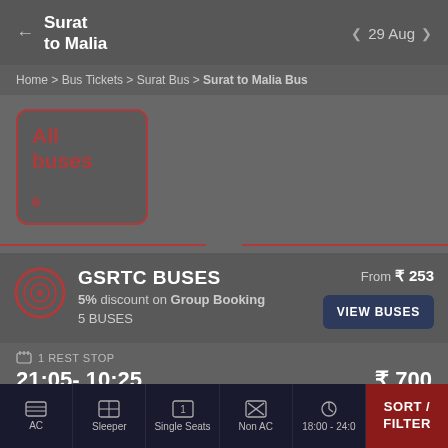Surat to Malia — 29 Aug
Home > Bus Tickets > Surat Bus > Surat to Malia Bus
All buses
6
GSRTC BUSES
5% discount on Group Booking
5 BUSES
From ₹ 253
1 REST STOP
21:05 - 10:25
₹ 700
AC | Sleeper | Single Seats | Non AC | 18:00 - 24:00 | SORT / FILTER